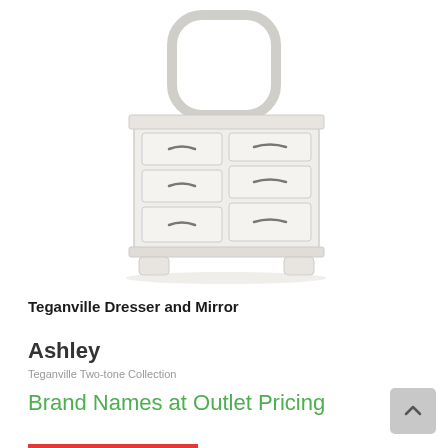[Figure (photo): White Teganville dresser with seven drawers and arched mirror on top, product photo on white background]
Teganville Dresser and Mirror
Ashley
Teganville Two-tone Collection
Brand Names at Outlet Pricing